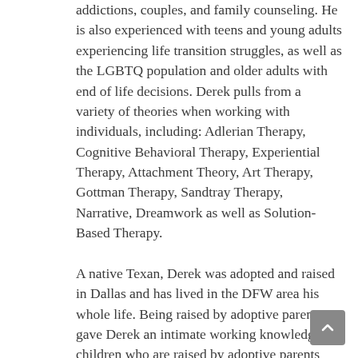addictions, couples, and family counseling. He is also experienced with teens and young adults experiencing life transition struggles, as well as the LGBTQ population and older adults with end of life decisions. Derek pulls from a variety of theories when working with individuals, including: Adlerian Therapy, Cognitive Behavioral Therapy, Experiential Therapy, Attachment Theory, Art Therapy, Gottman Therapy, Sandtray Therapy, Narrative, Dreamwork as well as Solution-Based Therapy.
A native Texan, Derek was adopted and raised in Dallas and has lived in the DFW area his whole life. Being raised by adoptive parents gave Derek an intimate working knowledge of children who are raised by adoptive parents and the challenges that both the parent and child could experience. Derek and his wife have two children, ages 11 and 16.